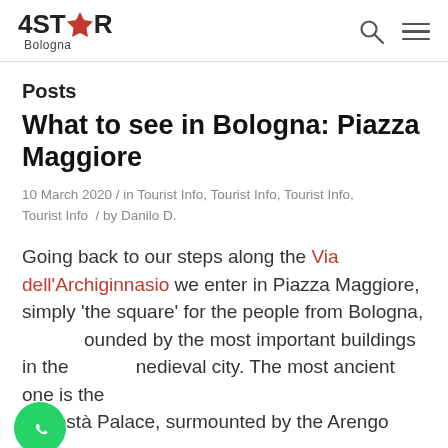4STAR Bologna
Posts
What to see in Bologna: Piazza Maggiore
10 March 2020 / in Tourist Info, Tourist Info, Tourist Info, Tourist Info / by Danilo D.
Going back to our steps along the Via dell'Archiginnasio we enter in Piazza Maggiore, simply 'the square' for the people from Bologna, surrounded by the most important buildings in the medieval city. The most ancient one is the Podestà Palace, surmounted by the Arengo